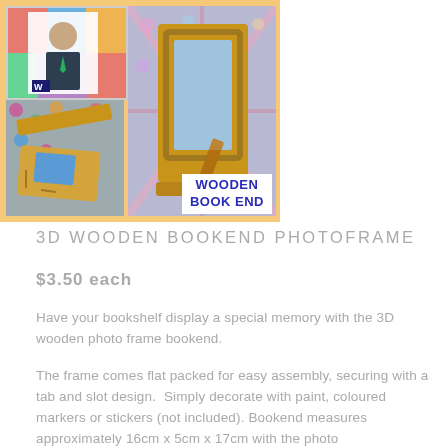[Figure (photo): Product photo collage showing a 3D wooden bookend photo frame: top-left shows a school portrait photo in a white frame, bottom-left shows the flat-packed wooden bookend pieces laid out, right side shows the assembled standing wooden photo frame bookend. Label reads WOODEN BOOK END in blue text on white background.]
3D WOODEN BOOKEND PHOTOFRAME
$3.50 each
Have your bookshelf display a special memory with the 3D wooden photo frame bookend.
The frame comes flat packed for easy assembly, securing with a tab and slot design.  Simply decorate with paint, coloured markers or stickers (not included). Bookend measures approximately 16cm x 5cm x 17cm with the photo